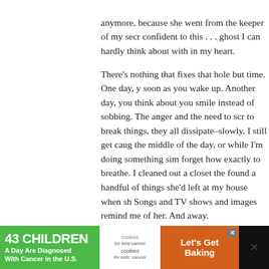anymore, because she went from the keeper of my secr confident to this . . . ghost I can hardly think about with in my heart.
There's nothing that fixes that hole but time. One day, y soon as you wake up. Another day, you think about you smile instead of sobbing. The anger and the need to scr to break things, they all dissipate–slowly. I still get caug the middle of the day, or while I'm doing something sim forget how exactly to breathe. I cleaned out a closet the found a handful of things she'd left at my house when sh Songs and TV shows and images remind me of her. And away.
But it does get better. And in your case, you have the ac memories with Jackie! will stay beautiful and perfect. I f friendship ended because I feel like some of the memor tarnished and broken. I want to scream at her and the w
You have been dealt a bum hand, I think sometimes, in t because you've endured so much more than most othe
[Figure (infographic): Advertisement banner: green background on left reading '43 CHILDREN A Day Are Diagnosed With Cancer in the U.S.', center shows cookies for kids' cancer logo, right side shows orange section reading 'Let's Get Baking' with a close button, and dark section on far right.]